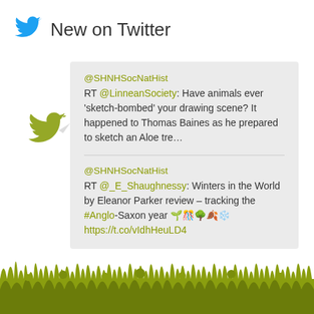[Figure (logo): Blue Twitter bird logo icon]
New on Twitter
[Figure (illustration): Olive/green Twitter bird silhouette decoration on left side]
@SHNHSocNatHist
RT @LinneanSociety: Have animals ever 'sketch-bombed' your drawing scene? It happened to Thomas Baines as he prepared to sketch an Aloe tre…
@SHNHSocNatHist
RT @_E_Shaughnessy: Winters in the World by Eleanor Parker review – tracking the #Anglo-Saxon year 🌱🎊🌳🍂❄️ https://t.co/vIdhHeuLD4
[Figure (illustration): Olive green meadow/grass silhouette decorative border at bottom of page]